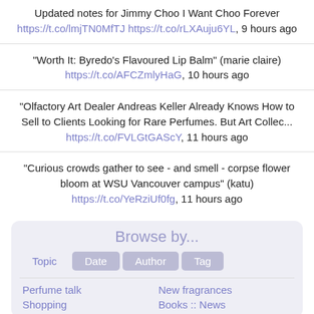Updated notes for Jimmy Choo I Want Choo Forever https://t.co/lmjTN0MfTJ https://t.co/rLXAuju6YL, 9 hours ago
"Worth It: Byredo's Flavoured Lip Balm" (marie claire) https://t.co/AFCZmlyHaG, 10 hours ago
"Olfactory Art Dealer Andreas Keller Already Knows How to Sell to Clients Looking for Rare Perfumes. But Art Collec... https://t.co/FVLGtGAScY, 11 hours ago
"Curious crowds gather to see - and smell - corpse flower bloom at WSU Vancouver campus" (katu) https://t.co/YeRziUf0fg, 11 hours ago
Browse by...
Topic
Date
Author
Tag
Perfume talk
New fragrances
Shopping
Books :: News